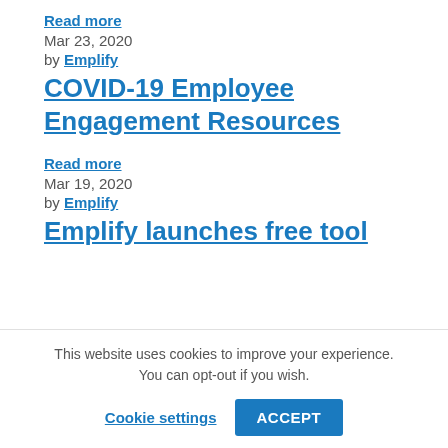Read more
Mar 23, 2020
by Emplify
COVID-19 Employee Engagement Resources
Read more
Mar 19, 2020
by Emplify
Emplify launches free tool
This website uses cookies to improve your experience. You can opt-out if you wish.
Cookie settings
ACCEPT